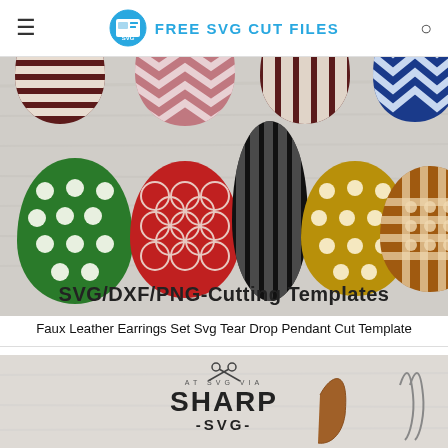FREE SVG CUT FILES
[Figure (photo): Faux leather teardrop earrings cut templates in various colors and patterns (stripes, chevron, polka dots, lattice) with text SVG/DXF/PNG-Cutting Templates]
Faux Leather Earrings Set Svg Tear Drop Pendant Cut Template
[Figure (logo): Sharp SVG logo with scissors icon above text SHARP -SVG- and partial earring imagery below]